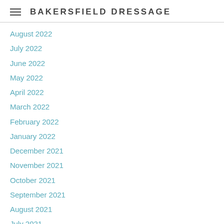BAKERSFIELD DRESSAGE
August 2022
July 2022
June 2022
May 2022
April 2022
March 2022
February 2022
January 2022
December 2021
November 2021
October 2021
September 2021
August 2021
July 2021
June 2021
May 2021
April 2021
March 2021